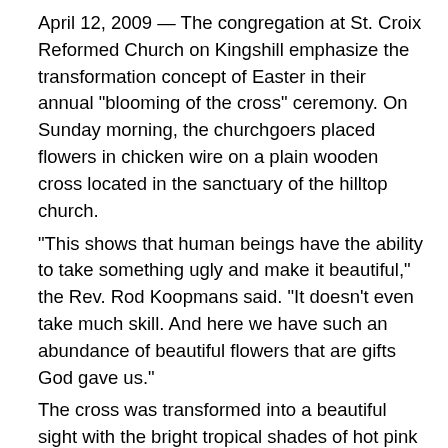April 12, 2009 — The congregation at St. Croix Reformed Church on Kingshill emphasize the transformation concept of Easter in their annual "blooming of the cross" ceremony. On Sunday morning, the churchgoers placed flowers in chicken wire on a plain wooden cross located in the sanctuary of the hilltop church.
"This shows that human beings have the ability to take something ugly and make it beautiful," the Rev. Rod Koopmans said. "It doesn't even take much skill. And here we have such an abundance of beautiful flowers that are gifts God gave us."
The cross was transformed into a beautiful sight with the bright tropical shades of hot pink and purple bougainvillea, orange heliconia, pink frangipani, red ixora, orange amaryllis, red hibiscus and yellow allamanda flowers.
"All the pretty colors of the island flowers make it come alive," Jami Male said. "It is beautiful."